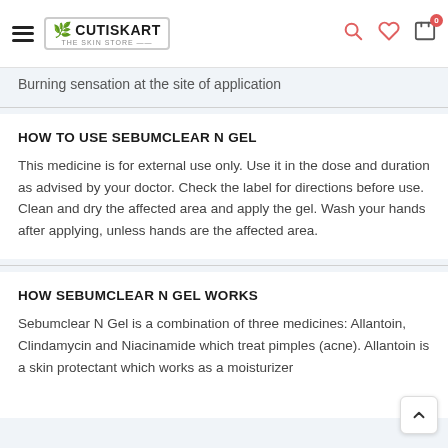CUTISKART THE SKIN STORE [logo]
Burning sensation at the site of application
HOW TO USE SEBUMCLEAR N GEL
This medicine is for external use only. Use it in the dose and duration as advised by your doctor. Check the label for directions before use. Clean and dry the affected area and apply the gel. Wash your hands after applying, unless hands are the affected area.
HOW SEBUMCLEAR N GEL WORKS
Sebumclear N Gel is a combination of three medicines: Allantoin, Clindamycin and Niacinamide which treat pimples (acne). Allantoin is a skin protectant which works as a moisturizer